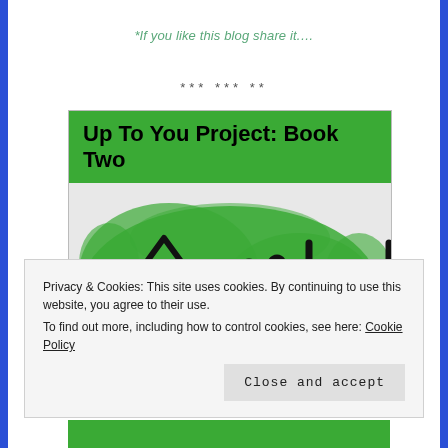*If you like this blog share it....
*** *** **
[Figure (illustration): Book cover for 'Up To You Project: Book Two' with a green header and illustrated symbols including an upward arrow, a hand gesture, and a letter U on a green brushstroke background.]
Privacy & Cookies: This site uses cookies. By continuing to use this website, you agree to their use. To find out more, including how to control cookies, see here: Cookie Policy
Close and accept